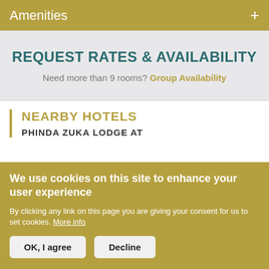Amenities +
REQUEST RATES & AVAILABILITY
Need more than 9 rooms? Group Availability
NEARBY HOTELS
PHINDA ZUKA LODGE AT
We use cookies on this site to enhance your user experience
By clicking any link on this page you are giving your consent for us to set cookies. More info
OK, I agree    Decline